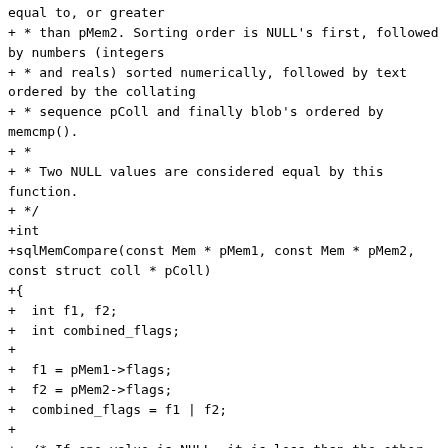equal to, or greater
+ * than pMem2. Sorting order is NULL's first, followed by numbers (integers
+ * and reals) sorted numerically, followed by text ordered by the collating
+ * sequence pColl and finally blob's ordered by memcmp().
+ *
+ * Two NULL values are considered equal by this function.
+ */
+int
+sqlMemCompare(const Mem * pMem1, const Mem * pMem2, const struct coll * pColl)
+{
+  int f1, f2;
+  int combined_flags;
+
+  f1 = pMem1->flags;
+  f2 = pMem2->flags;
+  combined_flags = f1 | f2;
+
+  /* If one value is NULL, it is less than the other. If both values
+   * are NULL, return 0.
+   */
+  if (combined_flags & MEM_Null) {
+    return (f2 & MEM_Null) - (f1 & MEM_Null);
+  }
+